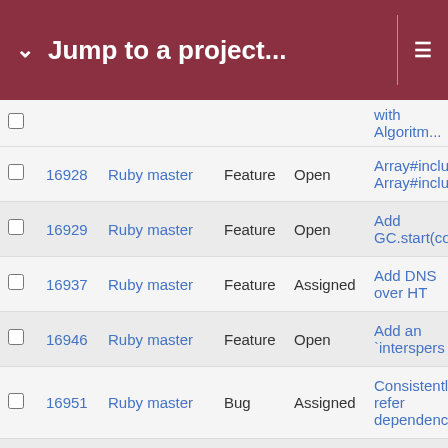Jump to a project...
|  | # | Project | Tracker | Status | Subject |
| --- | --- | --- | --- | --- | --- |
|  | 16928 | Ruby master | Feature | Open | Array#include_all? Array#include_any? |
|  | 16929 | Ruby master | Feature | Open | Add GC.start(com... |
|  | 16937 | Ruby master | Feature | Assigned | Add DNS over HT... |
|  | 16946 | Ruby master | Feature | Open | Add an `interspers... |
|  | 16951 | Ruby master | Bug | Assigned | Consistently refer... dependencies |
|  | 16952 | Ruby master | Feature | Open | Kernel.exec gives error message wh... script with a non-e... shebang |
|  | 16959 | Ruby master | Bug | Open | Weakmap has spe... party usage despi... private API |
|  | 16960 | Ruby master | Feature | Open | Feedback regardin... Pattern Matching |
|  | 16963 | Ruby master | Feature | Assigned | Remove English.r... 2.8/3.0 |